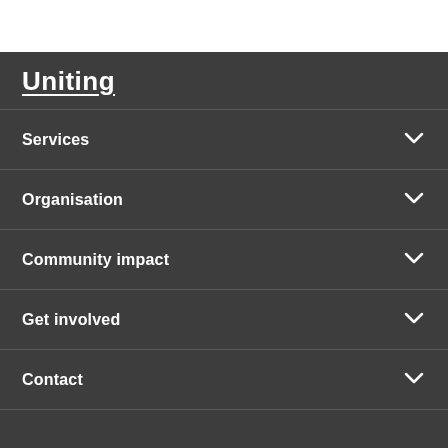Uniting
Services
Organisation
Community impact
Get involved
Contact